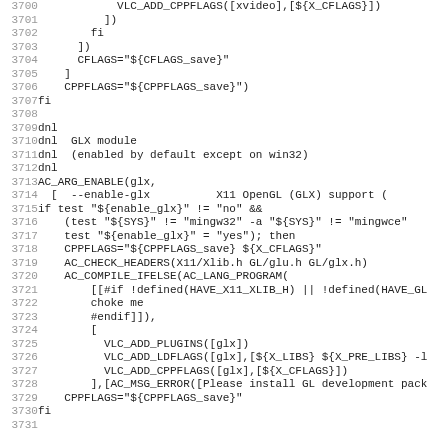[Figure (screenshot): Source code listing (configure.ac or similar autoconf script) showing lines 3700-3731. Lines include VLC_ADD_CPPFLAGS, fi, CFLAGS, CPPFLAGS assignments, dnl comments about GLX module, AC_ARG_ENABLE for glx, if test blocks, AC_CHECK_HEADERS, AC_COMPILE_IFELSE, VLC_ADD_PLUGINS, VLC_ADD_LDFLAGS, VLC_ADD_CPPFLAGS, AC_MSG_ERROR calls.]